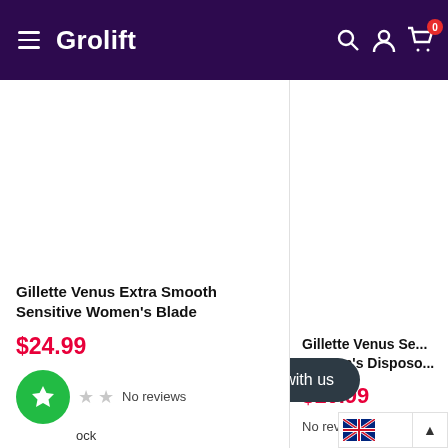Grolift
Gillette Venus Extra Smooth Sensitive Women's Blade
$24.99
No reviews
Gillette Venus Se... Women's Disposo...
$10.99
No rev...
Chat with us